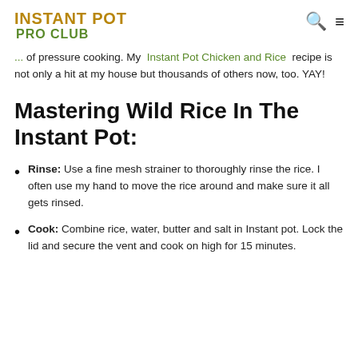INSTANT POT PRO CLUB
of pressure cooking. My Instant Pot Chicken and Rice recipe is not only a hit at my house but thousands of others now, too. YAY!
Mastering Wild Rice In The Instant Pot:
Rinse: Use a fine mesh strainer to thoroughly rinse the rice. I often use my hand to move the rice around and make sure it all gets rinsed.
Cook: Combine rice, water, butter and salt in Instant pot. Lock the lid and secure the vent and cook on high for 15 minutes.